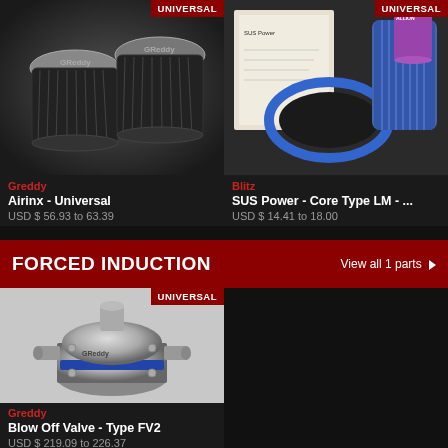[Figure (photo): Two black GReddy Airinx universal air filters on dark background with UNIVERSAL badge in top-right corner]
Greddy
Airinx - Universal
USD $ 56.93 to 63.39
[Figure (photo): Blitz SUS Power Core Type LM air filter kit with blue foam ring gasket and blue pleated filter element, UNIVERSAL badge top-right]
Blitz
SUS Power - Core Type LM - ...
USD $ 14.41 to 18.00
FORCED INDUCTION
View all 1 parts ▶
[Figure (photo): GReddy Blow Off Valve Type FV2 silver billet aluminum with blue ring on white/grey background, UNIVERSAL badge top-right]
Greddy
Blow Off Valve - Type FV2
USD $ 219.09 to 226.37